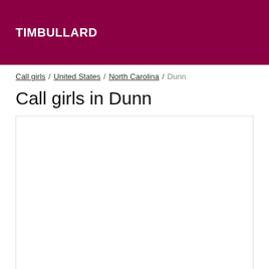TIMBULLARD
Call girls / United States / North Carolina / Dunn
Call girls in Dunn
[Figure (other): Empty white content box with border]